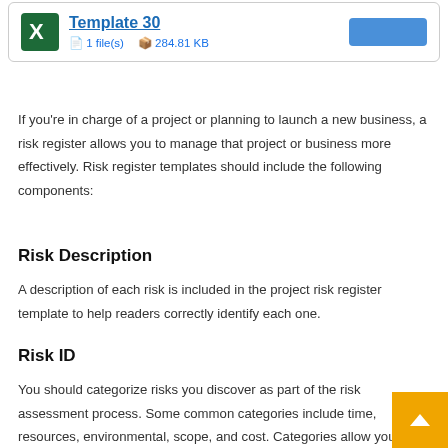[Figure (screenshot): Card showing Excel Template 30 with file count (1 file(s)) and size (284.81 KB), plus a blue download button]
If you're in charge of a project or planning to launch a new business, a risk register allows you to manage that project or business more effectively. Risk register templates should include the following components:
Risk Description
A description of each risk is included in the project risk register template to help readers correctly identify each one.
Risk ID
You should categorize risks you discover as part of the risk assessment process. Some common categories include time, resources, environmental, scope, and cost. Categories allow you